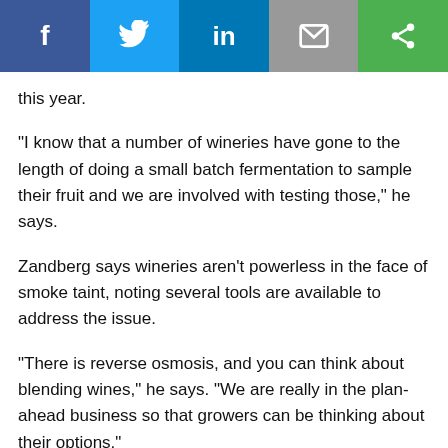[Figure (other): Social media sharing bar with Facebook, Twitter, LinkedIn, Email, and Share buttons]
this year.
“I know that a number of wineries have gone to the length of doing a small batch fermentation to sample their fruit and we are involved with testing those,” he says.
Zandberg says wineries aren’t powerless in the face of smoke taint, noting several tools are available to address the issue.
“There is reverse osmosis, and you can think about blending wines,” he says. “We are really in the plan-ahead business so that growers can be thinking about their options.”
While smoke lay thick across the Okanagan in 2017 as Noestheden says he hasn’t heard of any issues with last